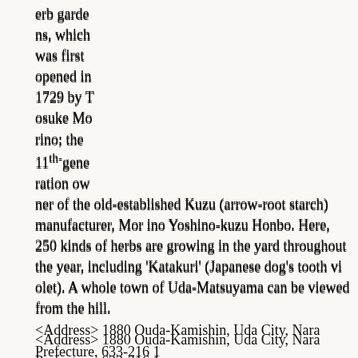erb gardens, which was first opened in 1729 by Tosuke Morino; the 11th-generation owner of the old-established Kuzu (arrow-root starch) manufacturer, Morino Yoshino-kuzu Honbo. Here, 250 kinds of herbs are growing in the yard throughout the year, including 'Katakuri' (Japanese dog's tooth violet). A whole town of Uda-Matsuyama can be viewed from the hill.
<Address> 1880 Ouda-Kamishin, Uda City, Nara Prefecture, 633-2161
<Access> From Kintetsu Haibara Station, take a bus bound for 'Ouda'. Get off at the final stop and walk for 10 minutes.
Click here for the map.